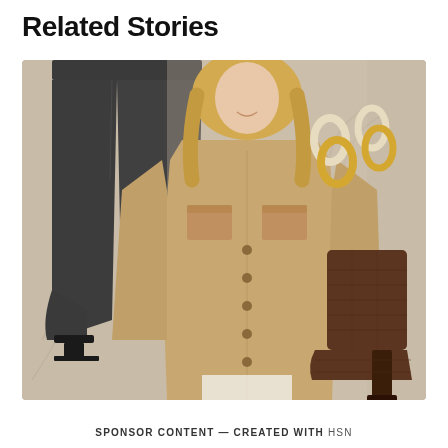Related Stories
[Figure (photo): Fashion collage on a beige background showing: dark charcoal wide-leg jeans on a female model with black sandals, a blonde woman wearing a tan/camel button-up shacket, cream and gold chain-link earrings, and dark brown croc-embossed heeled ankle boots.]
SPONSOR CONTENT — CREATED WITH HSN